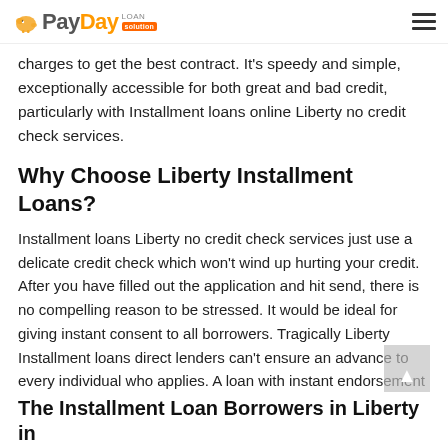PayDay Loan Solution
charges to get the best contract. It's speedy and simple, exceptionally accessible for both great and bad credit, particularly with Installment loans online Liberty no credit check services.
Why Choose Liberty Installment Loans?
Installment loans Liberty no credit check services just use a delicate credit check which won't wind up hurting your credit. After you have filled out the application and hit send, there is no compelling reason to be stressed. It would be ideal for giving instant consent to all borrowers. Tragically Liberty Installment loans direct lenders can't ensure an advance to every individual who applies. A loan with instant endorsement depends on the immediate arrangement. That choice could be positive or negative.
Applying does NOT affect your credit score!
No credit check to apply.
The Installment Loan Borrowers in Liberty in